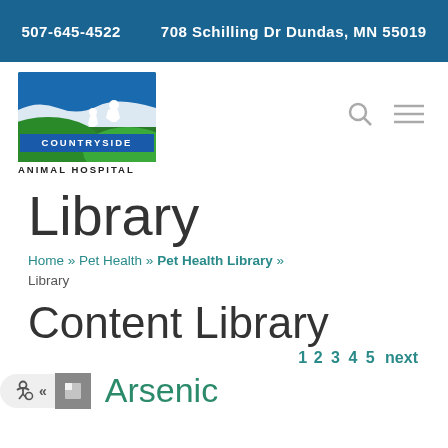507-645-4522   708 Schilling Dr Dundas, MN 55019
[Figure (logo): Countryside Animal Hospital logo with blue and green landscape and animals]
Library
Home » Pet Health » Pet Health Library » Library
Content Library
1 2 3 4 5 next
Arsenic